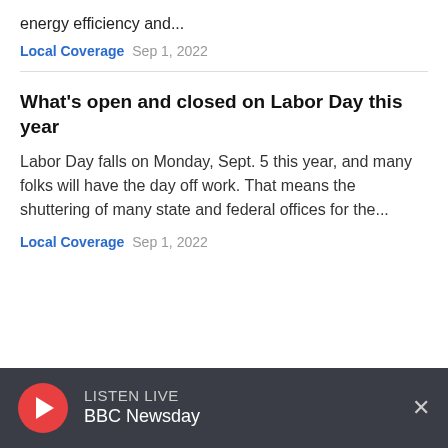energy efficiency and...
Local Coverage  Sep 1, 2022
What's open and closed on Labor Day this year
Labor Day falls on Monday, Sept. 5 this year, and many folks will have the day off work. That means the shuttering of many state and federal offices for the...
Local Coverage  Sep 1, 2022
LISTEN LIVE
BBC Newsday